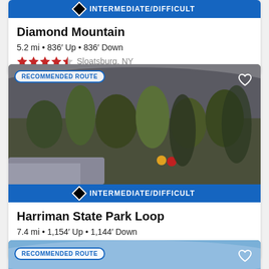INTERMEDIATE/DIFFICULT
Diamond Mountain
5.2 mi • 836′ Up • 836′ Down
★★★★½ Sloatsburg, NY
[Figure (photo): Scenic mountain forest overlook photo with hikers in background, orange and red jackets visible among bare trees]
INTERMEDIATE/DIFFICULT
Harriman State Park Loop
7.4 mi • 1,154′ Up • 1,144′ Down
★★★★ Sloatsburg, NY
[Figure (photo): Partial sky/landscape photo — third trail card beginning at bottom]